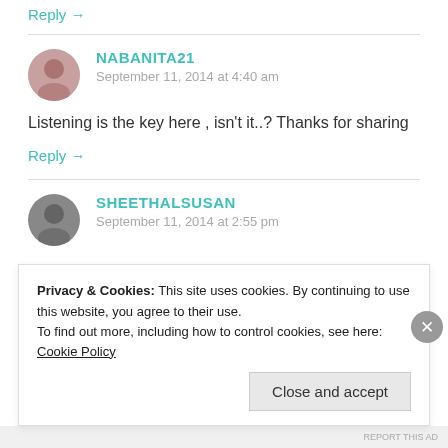Reply →
NABANITA21
September 11, 2014 at 4:40 am
Listening is the key here , isn't it..? Thanks for sharing
Reply →
SHEETHALSUSAN
September 11, 2014 at 2:55 pm
Privacy & Cookies: This site uses cookies. By continuing to use this website, you agree to their use. To find out more, including how to control cookies, see here: Cookie Policy
Close and accept